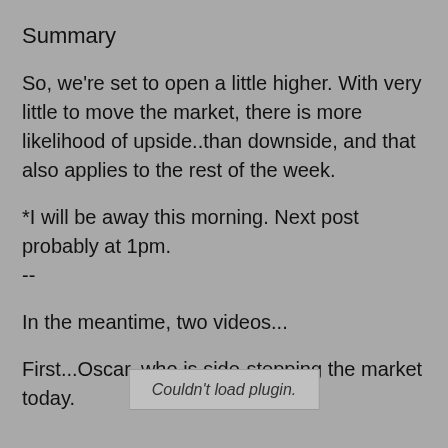Summary
So, we're set to open a little higher. With very little to move the market, there is more likelihood of upside..than downside, and that also applies to the rest of the week.
*I will be away this morning. Next post probably at 1pm.
--
In the meantime, two videos...
First...Oscar, who is side-stepping the market today.
Couldn't load plugin.